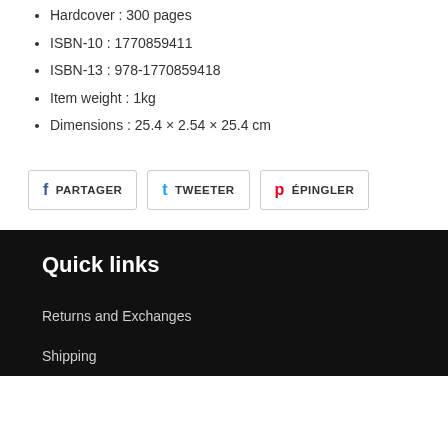Hardcover : 300 pages
ISBN-10 : 1770859411
ISBN-13 : 978-1770859418
Item weight : 1kg
Dimensions : 25.4 × 2.54 × 25.4 cm
PARTAGER | TWEETER | ÉPINGLER
Quick links
Returns and Exchanges
Shipping